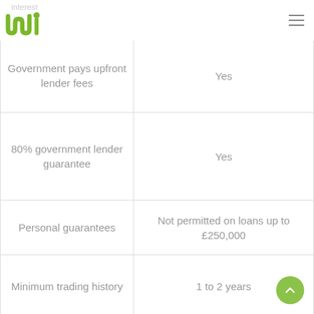nci logo and navigation
| Feature | Value |
| --- | --- |
| Government pays upfront lender fees | Yes |
| 80% government lender guarantee | Yes |
| Personal guarantees | Not permitted on loans up to £250,000 |
| Minimum trading history | 1 to 2 years |